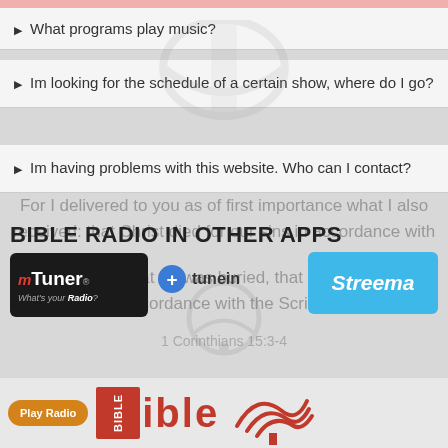What programs play music?
Im looking for the schedule of a certain show, where do I go?
Im having problems with this website. Who can I contact?
For I delivered to you as of first importance what I also received: that Christ died for our sins in accordance with the Scriptures, that he was buried, that he was raised on the day accordance with the Scriptures.
1 Corinthians 15:3-4
BIBLE RADIO IN OTHER APPS
[Figure (logo): myTuner Radio app logo button - black background with red 'm', white 'Tuner' text and tagline 'What's your Radio?']
[Figure (logo): TuneIn app logo button - blue circle with plus sign and 'tunein' text]
[Figure (logo): Streema app logo button - blue background with white italic 'Streema' text]
[Figure (logo): Bible Radio logo at bottom with red square 'BIBLE' text and radio wave graphic, Play Radio orange button]
Play Radio